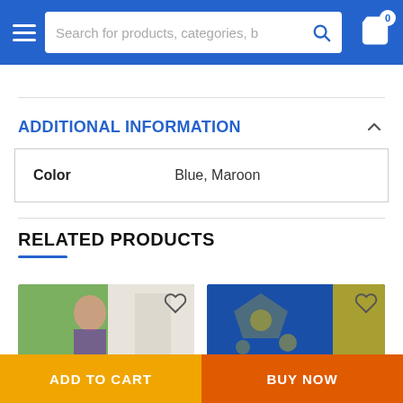[Figure (screenshot): E-commerce app navigation header with hamburger menu, search bar reading 'Search for products, categories, b', search icon, and shopping cart icon with badge showing 0]
ADDITIONAL INFORMATION
| Color | Blue, Maroon |
RELATED PRODUCTS
[Figure (photo): Product photo showing a woman in a saree outdoors with greenery in background, with a heart/wishlist icon]
[Figure (photo): Product photo showing a blue saree fabric with yellow embroidery pattern, with a heart/wishlist icon]
ADD TO CART
BUY NOW